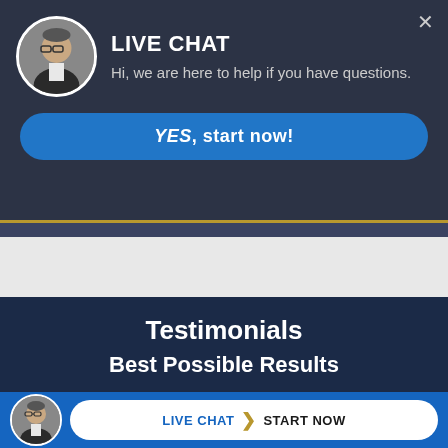[Figure (screenshot): Live chat popup overlay with man avatar photo, LIVE CHAT heading, greeting text, and YES start now button on dark navy background]
LIVE CHAT
Hi, we are here to help if you have questions.
YES, start now!
Testimonials
Best Possible Results
MARY DID A VERY EXCELLENT JOB WITH MY CASE, SHE REALLY PUSHED TO MAKE SURE THAT I GOT THE BEST
LIVE CHAT  START NOW